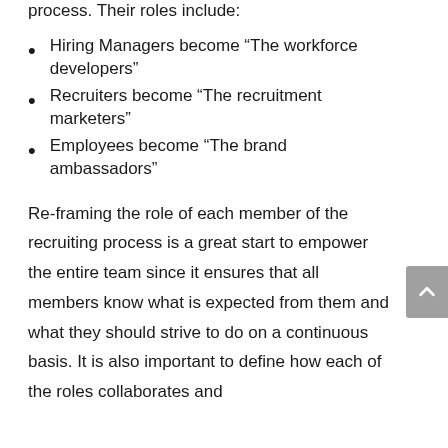process. Their roles include:
Hiring Managers become “The workforce developers”
Recruiters become “The recruitment marketers”
Employees become “The brand ambassadors”
Re-framing the role of each member of the recruiting process is a great start to empower the entire team since it ensures that all members know what is expected from them and what they should strive to do on a continuous basis. It is also important to define how each of the roles collaborates and